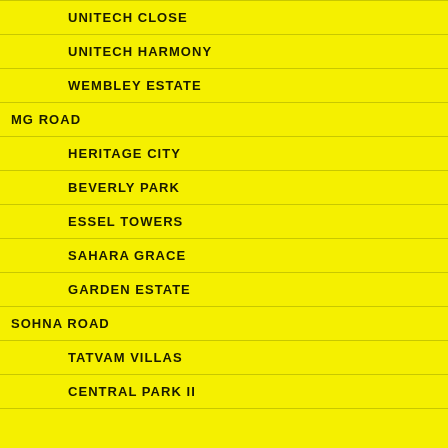UNITECH CLOSE
UNITECH HARMONY
WEMBLEY ESTATE
MG ROAD
HERITAGE CITY
BEVERLY PARK
ESSEL TOWERS
SAHARA GRACE
GARDEN ESTATE
SOHNA ROAD
TATVAM VILLAS
CENTRAL PARK II